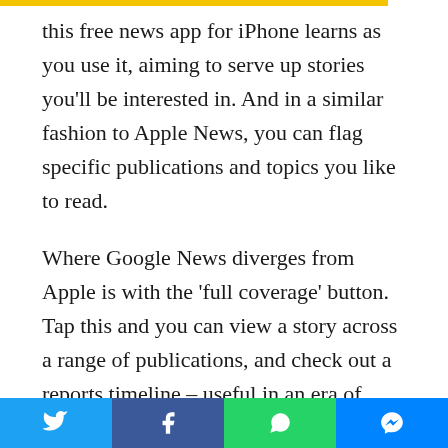this free news app for iPhone learns as you use it, aiming to serve up stories you'll be interested in. And in a similar fashion to Apple News, you can flag specific publications and topics you like to read.
Where Google News diverges from Apple is with the 'full coverage' button. Tap this and you can view a story across a range of publications, and check out a reports timeline – useful in an era of increasingly partisan coverage.
Beyond that, there are many other reasons to make the app one of your go-tos for news: fast access to any source's list of stories; the means to hide any publication; a regularly updated briefing; an optional daily news